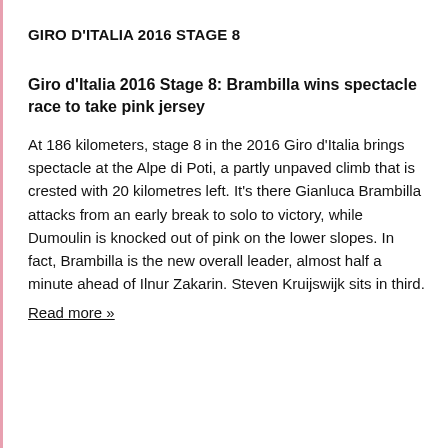GIRO D'ITALIA 2016 STAGE 8
Giro d'Italia 2016 Stage 8: Brambilla wins spectacle race to take pink jersey
At 186 kilometers, stage 8 in the 2016 Giro d'Italia brings spectacle at the Alpe di Poti, a partly unpaved climb that is crested with 20 kilometres left. It's there Gianluca Brambilla attacks from an early break to solo to victory, while Dumoulin is knocked out of pink on the lower slopes. In fact, Brambilla is the new overall leader, almost half a minute ahead of Ilnur Zakarin. Steven Kruijswijk sits in third.
Read more »